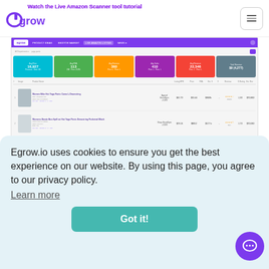[Figure (screenshot): Egrow.io website header with logo, navigation link 'Watch the Live Amazon Scanner tool tutorial', hamburger menu button, and a screenshot of the Egrow Amazon Scanner tool dashboard showing product metrics and results table]
Egrow.io uses cookies to ensure you get the best experience on our website. By using this page, you agree to our privacy policy.
Learn more
Got it!